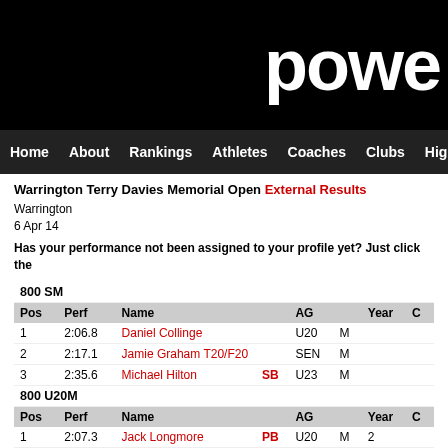powe
Home  About  Rankings  Athletes  Coaches  Clubs  Highlight
Warrington Terry Davies Memorial Open External Results
Warrington
6 Apr 14
Has your performance not been assigned to your profile yet? Just click the
| Pos | Perf | Name |  | AG |  | Year | C |
| --- | --- | --- | --- | --- | --- | --- | --- |
| 800 SM |  |  |  |  |  |  |  |
| 1 | 2:06.8 | Daniel Collinge |  | U20 | M |  |  |
| 2 | 2:17.1 | Jamie Graham T20/F20 |  | SEN | M |  |  |
| 3 | 2:35.6 | Michael Hilton | SB | U23 | M |  |  |
| 800 U20M |  |  |  |  |  |  |  |
| 1 | 2:07.3 | Jack Longmore | PB | U20 | M | 2 |  |
| 2 | 2:13.0 | James Russell |  | U20 | M | 1 |  |